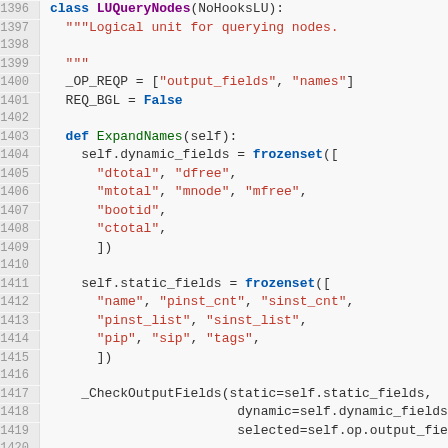[Figure (screenshot): Python source code snippet showing LUQueryNodes class definition with ExpandNames method, lines 1396-1421]